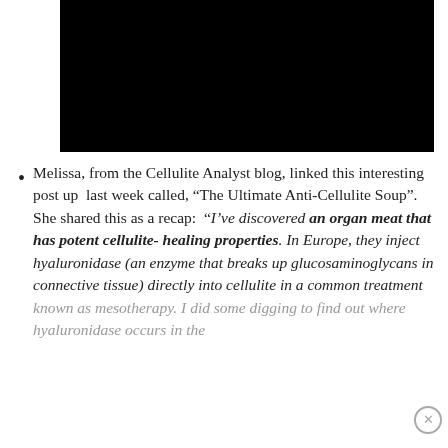[Figure (photo): Black rectangular image block at the top of the page]
Melissa, from the Cellulite Analyst blog, linked this interesting post up last week called, “The Ultimate Anti-Cellulite Soup”. She shared this as a recap: “I’ve discovered an organ meat that has potent cellulite-healing properties. In Europe, they inject hyaluronidase (an enzyme that breaks up glucosaminoglycans in connective tissue) directly into cellulite in a common treatment known as mesotherapy. I did some digging to find out where hyaluronidase occurs in the